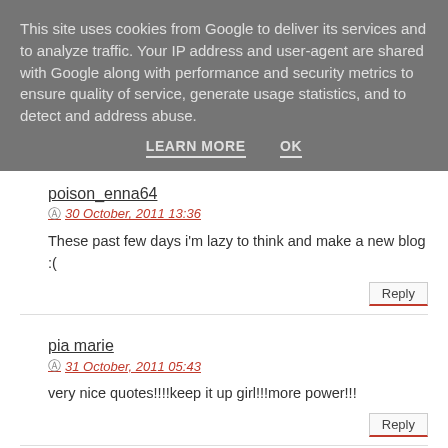This site uses cookies from Google to deliver its services and to analyze traffic. Your IP address and user-agent are shared with Google along with performance and security metrics to ensure quality of service, generate usage statistics, and to detect and address abuse.
LEARN MORE   OK
poison_enna64
30 October, 2011 13:36
These past few days i'm lazy to think and make a new blog :(
Reply
pia marie
31 October, 2011 05:43
very nice quotes!!!!keep it up girl!!!more power!!!
Reply
Enter comment